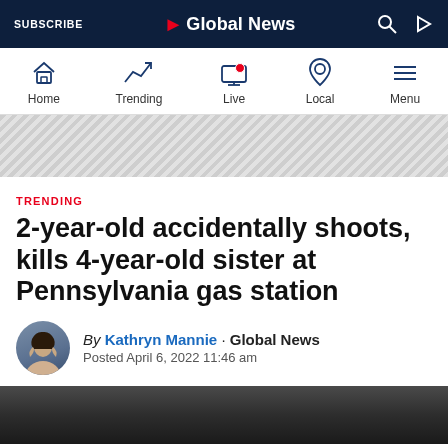SUBSCRIBE | Global News
[Figure (screenshot): Global News navigation bar with Home, Trending, Live, Local, Menu icons]
[Figure (other): Advertisement banner with diagonal stripe pattern]
TRENDING
2-year-old accidentally shoots, kills 4-year-old sister at Pennsylvania gas station
By Kathryn Mannie · Global News
Posted April 6, 2022 11:46 am
[Figure (photo): Blurred dark background photo, bottom of article]